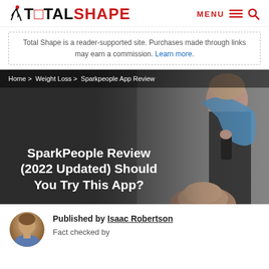TOTAL SHAPE | MENU
Total Shape is a reader-supported site. Purchases made through links may earn a commission. Learn more.
Home > Weight Loss > Sparkpeople App Review
[Figure (photo): Hero image with woman in black sports bra with blue towel over shoulders, looking at phone. Overlaid text: SparkPeople Review (2022 Updated) Should You Try This App? Breadcrumb navigation: Home > Weight Loss > Sparkpeople App Review]
SparkPeople Review (2022 Updated) Should You Try This App?
Published by Isaac Robertson
Fact checked by